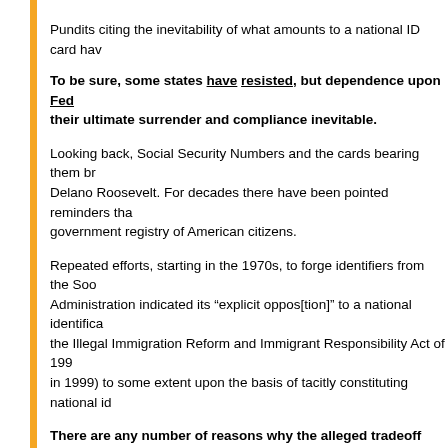Pundits citing the inevitability of what amounts to a national ID card hav
To be sure, some states have resisted, but dependence upon Fed their ultimate surrender and compliance inevitable.
Looking back, Social Security Numbers and the cards bearing them br Delano Roosevelt. For decades there have been pointed reminders tha government registry of American citizens.
Repeated efforts, starting in the 1970s, to forge identifiers from the Soc Administration indicated its “explicit oppos[tion]” to a national identifica the Illegal Immigration Reform and Immigrant Responsibility Act of 199 in 1999) to some extent upon the basis of tacitly constituting national id
There are any number of reasons why the alleged tradeoff betwee misrepresented. Any system designed, maintained, and run by huma documents from which the information fed into the Real ID program are hundreds) of thousands of Americans don’t have verifiable, “official” bir
And people can become radicalized after being issued their Real ID ca